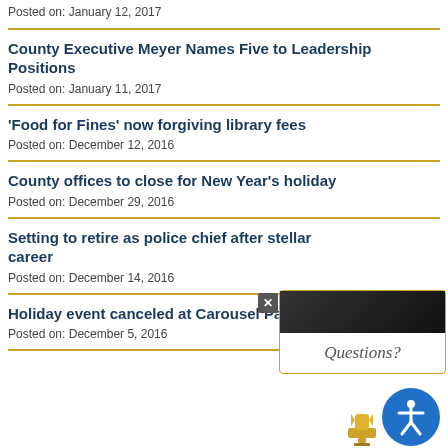Posted on: January 12, 2017
County Executive Meyer Names Five to Leadership Positions
Posted on: January 11, 2017
'Food for Fines' now forgiving library fees
Posted on: December 12, 2016
County offices to close for New Year's holiday
Posted on: December 29, 2016
Setting to retire as police chief after stellar career
Posted on: December 14, 2016
Holiday event canceled at Carousel Park
Posted on: December 5, 2016